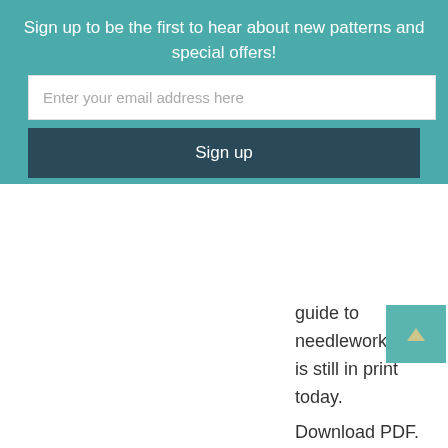Sign up to be the first to hear about new patterns and special offers!
Enter your email address here
Sign up
guide to needlework that is still in print today.
Download PDF.
FINISHED MEASUREMENTS
Length: 52 inches (after